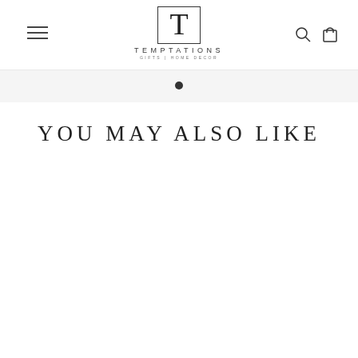TEMPTATIONS GIFTS | HOME DECOR
YOU MAY ALSO LIKE